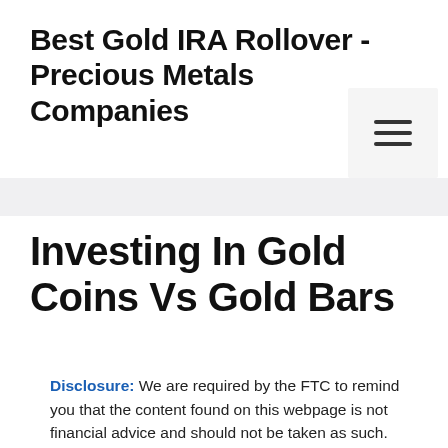Best Gold IRA Rollover - Precious Metals Companies
Investing In Gold Coins Vs Gold Bars
Disclosure: We are required by the FTC to remind you that the content found on this webpage is not financial advice and should not be taken as such. Always do your own research and consult a financial professional before making any investment decisions. The owners of this website may